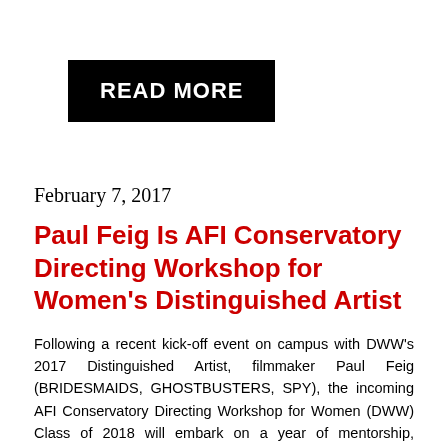[Figure (other): Black rectangular button with white bold text reading READ MORE]
February 7, 2017
Paul Feig Is AFI Conservatory Directing Workshop for Women's Distinguished Artist
Following a recent kick-off event on campus with DWW's 2017 Distinguished Artist, filmmaker Paul Feig (BRIDESMAIDS, GHOSTBUSTERS, SPY), the incoming AFI Conservatory Directing Workshop for Women (DWW) Class of 2018 will embark on a year of mentorship, collaboration and creation to make a short film or series —